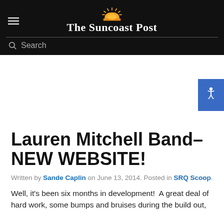The Suncoast Post
Lauren Mitchell Band– NEW WEBSITE!
Written by Sande Caplin on June 13, 2014. Posted in SRQ Scoop.
Well, it's been six months in development!  A great deal of hard work, some bumps and bruises during the build out,